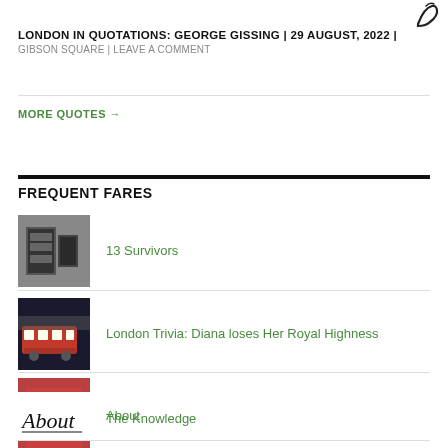[Figure (logo): Decorative cursive logo/signature in top right corner]
LONDON IN QUOTATIONS: GEORGE GISSING | 29 AUGUST, 2022 | GIBSON SQUARE | LEAVE A COMMENT
MORE QUOTES →
FREQUENT FARES
13 Survivors
London Trivia: Diana loses Her Royal Highness
The Knowledge
About